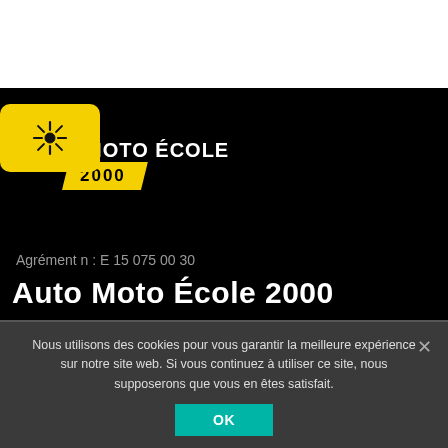[Figure (logo): Auto Moto École 2000 logo: yellow rounded rectangle with sun/crosshair icon, white uppercase text 'O MOTO ÉCOLE' and yellow parallelogram banner with '2000']
Agrément n : E 15 075 00 30
Auto Moto École 2000
Nous utilisons des cookies pour vous garantir la meilleure expérience sur notre site web. Si vous continuez à utiliser ce site, nous supposerons que vous en êtes satisfait.
OK